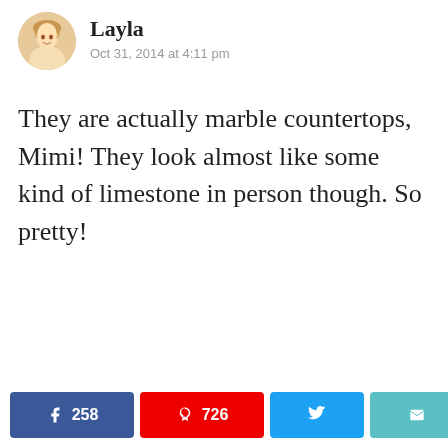Layla
Oct 31, 2014 at 4:11 pm
They are actually marble countertops, Mimi! They look almost like some kind of limestone in person though. So pretty!
[Figure (infographic): Social share bar with Facebook (258), Pinterest (726), Twitter, Email buttons and 984 SHARES total]